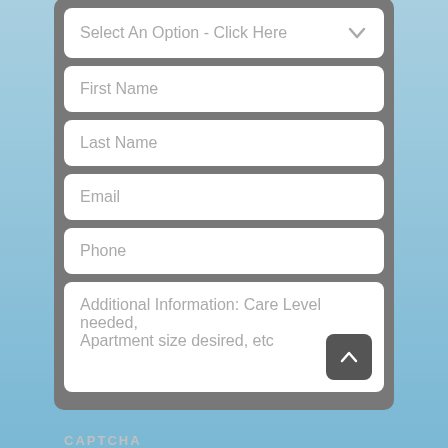[Figure (screenshot): Web form with input fields: dropdown (Select An Option - Click Here), First Name, Last Name, Email, Phone, and a textarea for Additional Information.]